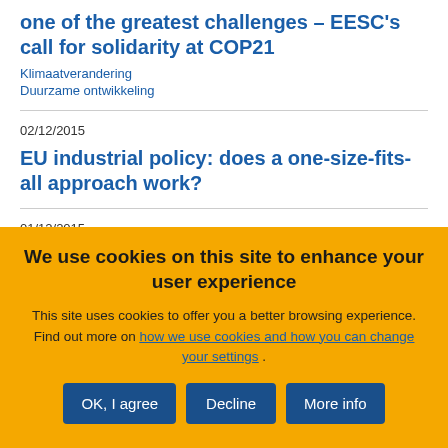one of the greatest challenges – EESC's call for solidarity at COP21
Klimaatverandering
Duurzame ontwikkeling
02/12/2015
EU industrial policy: does a one-size-fits-all approach work?
01/12/2015
We use cookies on this site to enhance your user experience
This site uses cookies to offer you a better browsing experience. Find out more on how we use cookies and how you can change your settings .